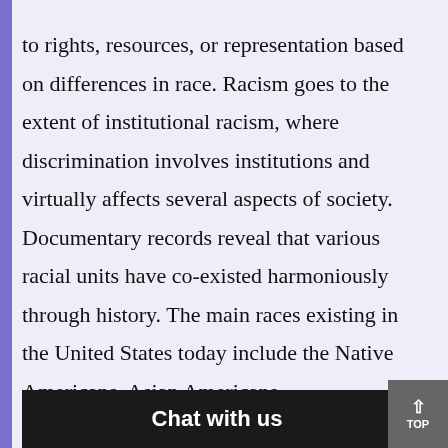to rights, resources, or representation based on differences in race. Racism goes to the extent of institutional racism, where discrimination involves institutions and virtually affects several aspects of society. Documentary records reveal that various racial units have co-existed harmoniously through history. The main races existing in the United States today include the Native Americans, Asian Americans, African